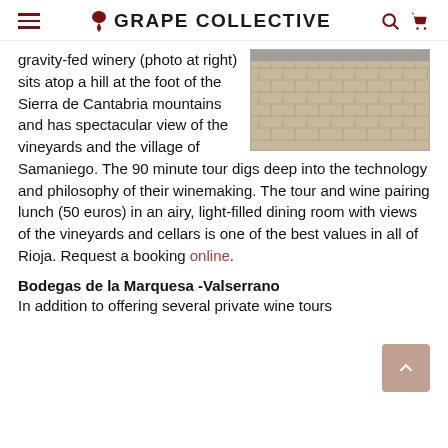GRAPE COLLECTIVE
[Figure (photo): Aerial/close-up photo of cobblestone or brick pavement, possibly outside a winery]
gravity-fed winery (photo at right) sits atop a hill at the foot of the Sierra de Cantabria mountains and has spectacular view of the vineyards and the village of Samaniego. The 90 minute tour digs deep into the technology and philosophy of their winemaking. The tour and wine pairing lunch (50 euros) in an airy, light-filled dining room with views of the vineyards and cellars is one of the best values in all of Rioja. Request a booking online.
Bodegas de la Marquesa -Valserrano
In addition to offering several private wine tours